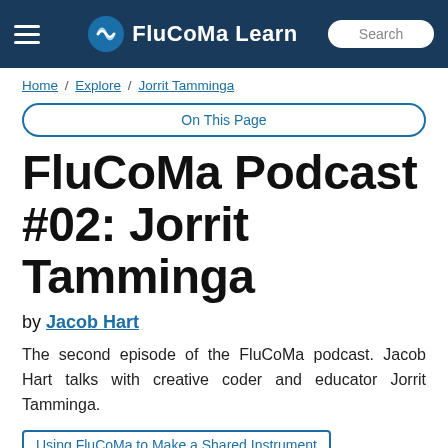FluCoMa Learn
Home / Explore / Jorrit Tamminga
On This Page
FluCoMa Podcast #02: Jorrit Tamminga
by Jacob Hart
The second episode of the FluCoMa podcast. Jacob Hart talks with creative coder and educator Jorrit Tamminga.
Using FluCoMa to Make a Shared Instrument